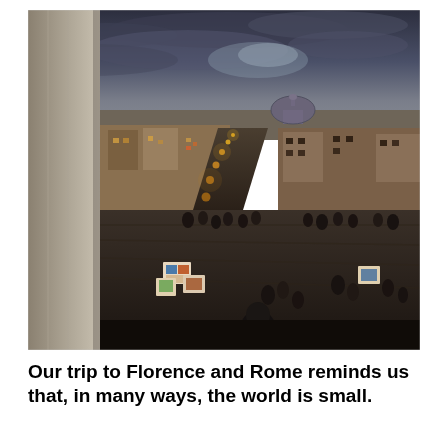[Figure (photo): Aerial dusk view of Rome from the Spanish Steps, showing a long street lined with lights leading toward the city center with a domed basilica visible on the horizon, clouds in a blue-grey twilight sky, tourists and art vendors on the steps in the foreground, and historic Roman buildings on either side.]
Our trip to Florence and Rome reminds us that, in many ways, the world is small.